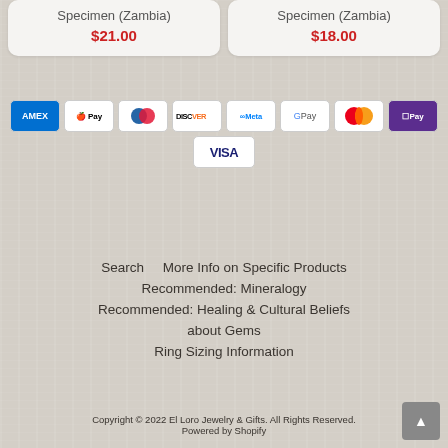Specimen (Zambia)
$21.00
Specimen (Zambia)
$18.00
[Figure (infographic): Row of payment method icons: American Express, Apple Pay, Diners Club, Discover, Meta Pay, Google Pay, Mastercard, Shop Pay, and Visa]
Search
More Info on Specific Products
Recommended: Mineralogy
Recommended: Healing & Cultural Beliefs about Gems
Ring Sizing Information
Copyright © 2022 El Loro Jewelry & Gifts. All Rights Reserved.
Powered by Shopify